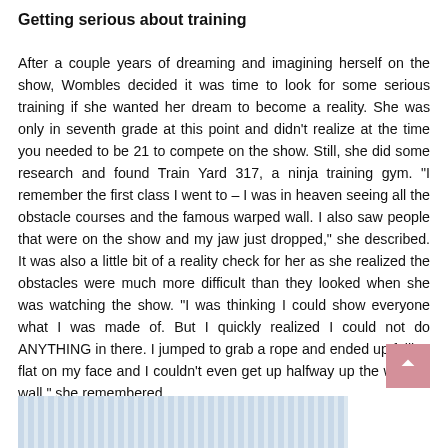Getting serious about training
After a couple years of dreaming and imagining herself on the show, Wombles decided it was time to look for some serious training if she wanted her dream to become a reality. She was only in seventh grade at this point and didn't realize at the time you needed to be 21 to compete on the show. Still, she did some research and found Train Yard 317, a ninja training gym. "I remember the first class I went to – I was in heaven seeing all the obstacle courses and the famous warped wall. I also saw people that were on the show and my jaw just dropped," she described. It was also a little bit of a reality check for her as she realized the obstacles were much more difficult than they looked when she was watching the show. "I was thinking I could show everyone what I was made of. But I quickly realized I could not do ANYTHING in there. I jumped to grab a rope and ended up falling flat on my face and I couldn't even get up halfway up the warped wall," she remembered.
[Figure (photo): Partial view of a striped blue/grey image at the bottom of the page]